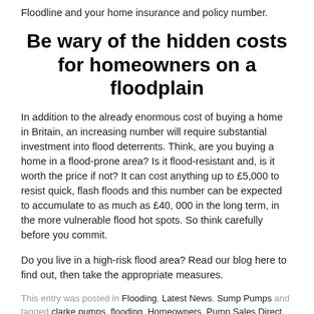Floodline and your home insurance and policy number.
Be wary of the hidden costs for homeowners on a floodplain
In addition to the already enormous cost of buying a home in Britain, an increasing number will require substantial investment into flood deterrents. Think, are you buying a home in a flood-prone area? Is it flood-resistant and, is it worth the price if not? It can cost anything up to £5,000 to resist quick, flash floods and this number can be expected to accumulate to as much as £40, 000 in the long term, in the more vulnerable flood hot spots. So think carefully before you commit.
Do you live in a high-risk flood area? Read our blog here to find out, then take the appropriate measures.
This entry was posted in Flooding, Latest News, Sump Pumps and tagged clarke pumps, flooding, Homeowners, Pump Sales Direct, pumps, pumps online, Sump pumps by Hannah Kirk. Bookmark the permalink.